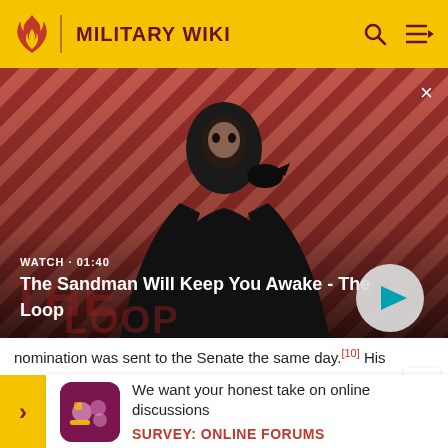MILITARY WIKI
[Figure (screenshot): Video thumbnail with dark-cloaked figure against red diagonal stripe background. Text reads WATCH · 01:40. Title: The Sandman Will Keep You Awake - The Loop. Play button circle on right.]
nomination was sent to the Senate the same day.[10] His nomination...2019...on Ja...
[Figure (other): Survey popup card with purple icon box and text: We want your honest take on online discussions. SURVEY: ONLINE FORUMS]